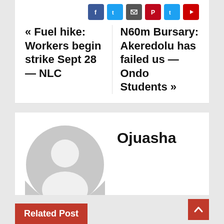[Figure (screenshot): Social media share icons row: Facebook (blue), Twitter (blue), Email (dark), Pinterest (red), Twitter variant, YouTube/red]
« Fuel hike: Workers begin strike Sept 28 — NLC
N60m Bursary: Akeredolu has failed us —Ondo Students »
[Figure (illustration): Generic grey avatar/profile placeholder image — circular silhouette of a person]
Ojuasha
Related Post